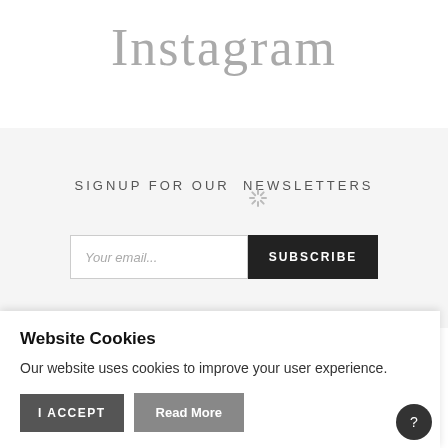Instagram
SIGNUP FOR OUR NEWSLETTERS
Your email...
SUBSCRIBE
Website Cookies
Our website uses cookies to improve your user experience.
I ACCEPT
Read More